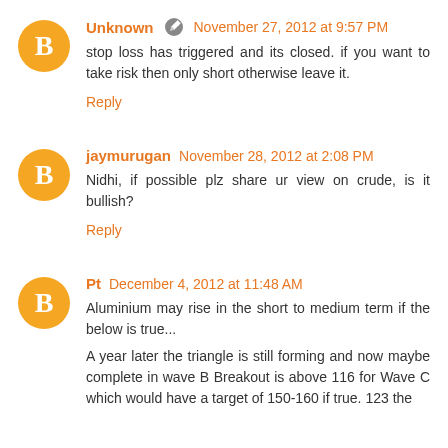Unknown · November 27, 2012 at 9:57 PM
stop loss has triggered and its closed. if you want to take risk then only short otherwise leave it.
Reply
jaymurugan · November 28, 2012 at 2:08 PM
Nidhi, if possible plz share ur view on crude, is it bullish?
Reply
Pt · December 4, 2012 at 11:48 AM
Aluminium may rise in the short to medium term if the below is true...

A year later the triangle is still forming and now maybe complete in wave B Breakout is above 116 for Wave C which would have a target of 150-160 if true. 123 the